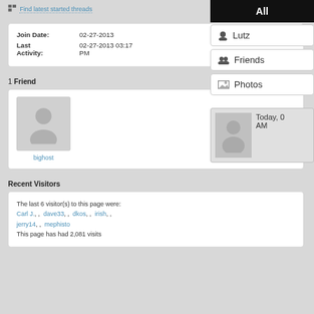Find latest started threads
| Join Date: | 02-27-2013 |
| --- | --- |
| Last Activity: | 02-27-2013 03:17 PM |
1 Friend
[Figure (illustration): Default user avatar placeholder for user 'bighost']
Recent Visitors
The last 6 visitor(s) to this page were: Carl J., , dave33, , dkos, , irish, , jerry14, , mephisto
This page has had 2,081 visits
[Figure (screenshot): Right sidebar with navigation buttons: All (selected, black), Lutz, Friends, Photos, and an activity box showing Today with a placeholder avatar]